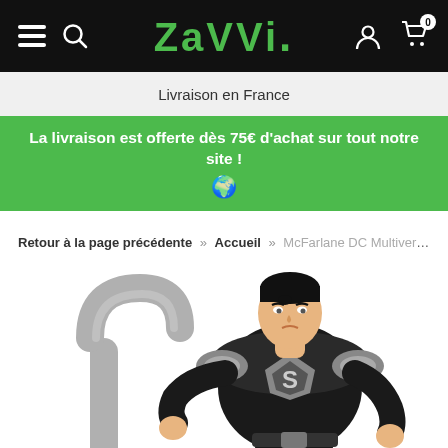Zavvi — Navigation bar with hamburger menu, search, logo, user account, and cart (0 items)
Livraison en France
La livraison est offerte dès 75€ d'achat sur tout notre site ! 🌍
Retour à la page précédente » Accueil » McFarlane DC Multiverse 7" - Anim
[Figure (photo): Product photo of a McFarlane DC Multiverse Superman action figure in black suit with silver S-shield, holding a bent metal bar accessory, on white background]